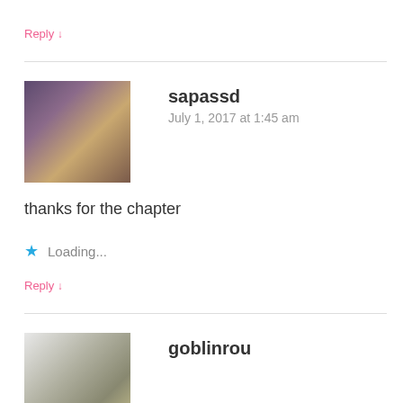Reply ↓
sapassd
July 1, 2017 at 1:45 am
thanks for the chapter
★ Loading...
Reply ↓
goblinrou